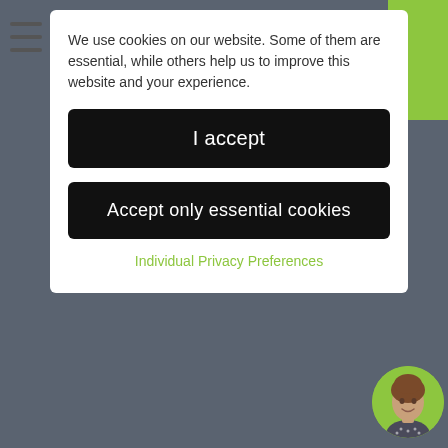We use cookies on our website. Some of them are essential, while others help us to improve this website and your experience.
I accept
Accept only essential cookies
Individual Privacy Preferences
FACIAL AESTHETICS
ADULT BRACES
CASE STUDY
COSMETIC DENTISTRY
DENTAL PHOBIA
DENTAL CARE PLANS
DENTAL HYGIENE
DENTAL PRACTICE NEWS
DENTIST
[Figure (photo): Circular avatar photo of a woman with brown hair]